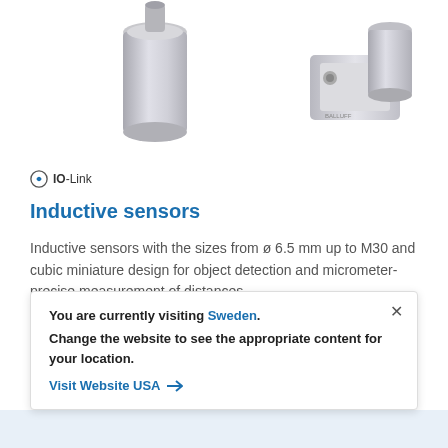[Figure (photo): Inductive sensors product photos — cylindrical metallic sensors and a square block sensor on white background]
IO-Link
Inductive sensors
Inductive sensors with the sizes from ø 6.5 mm up to M30 and cubic miniature design for object detection and micrometer-precise measurement of distances.
Open in product selector
You are currently visiting Sweden. Change the website to see the appropriate content for your location. Visit Website USA →